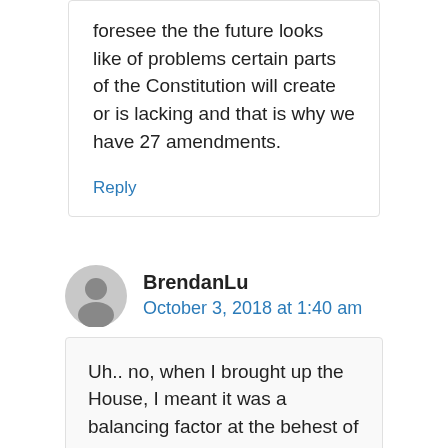foresee the the future looks like of problems certain parts of the Constitution will create or is lacking and that is why we have 27 amendments.
Reply
BrendanLu
October 3, 2018 at 1:40 am
Uh.. no, when I brought up the House, I meant it was a balancing factor at the behest of the less populous states